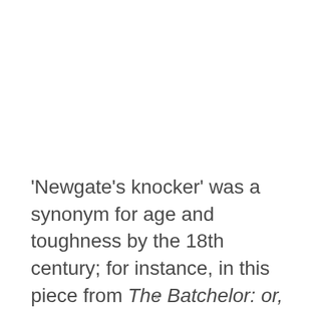'Newgate's knocker' was a synonym for age and toughness by the 18th century; for instance, in this piece from The Batchelor: or, Speculations of Jeoffry Wagstaffe, Esq, 1769:
x